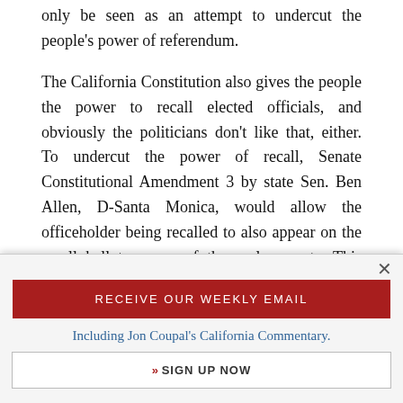only be seen as an attempt to undercut the people's power of referendum.
The California Constitution also gives the people the power to recall elected officials, and obviously the politicians don't like that, either. To undercut the power of recall, Senate Constitutional Amendment 3 by state Sen. Ben Allen, D-Santa Monica, would allow the officeholder being recalled to also appear on the recall ballot as one of the replacements. This would allow a
[Figure (other): Email signup popup with close button (×), red 'RECEIVE OUR WEEKLY EMAIL' button, subtitle 'Including Jon Coupal's California Commentary.', and a 'SIGN UP NOW' button on white background.]